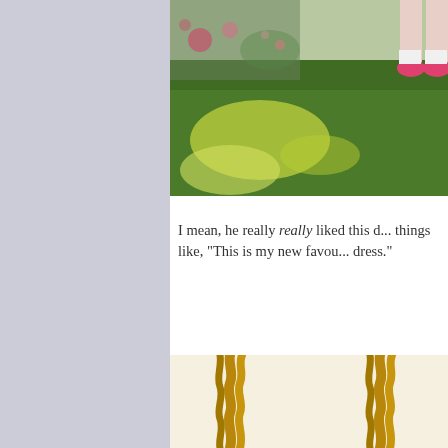[Figure (photo): Outdoor photo showing green grass with sunlight, and legs/feet of a person wearing pink shoes visible at top right corner.]
I mean, he really really liked this d... things like, "This is my new favour... dress."
[Figure (photo): Close-up photo of twisted braided rope or cord against a light cream/white background.]